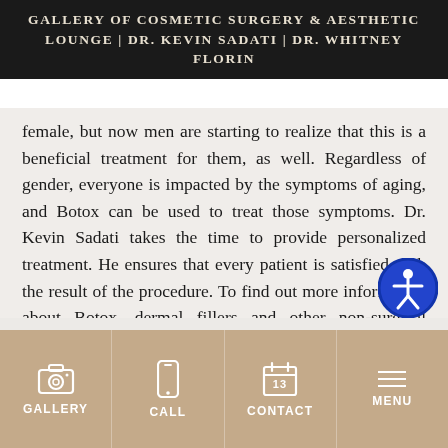GALLERY OF COSMETIC SURGERY & AESTHETIC LOUNGE | DR. KEVIN SADATI | DR. WHITNEY FLORIN
female, but now men are starting to realize that this is a beneficial treatment for them, as well. Regardless of gender, everyone is impacted by the symptoms of aging, and Botox can be used to treat those symptoms. Dr. Kevin Sadati takes the time to provide personalized treatment. He ensures that every patient is satisfied with the result of the procedure. To find out more information about Botox, dermal fillers and other non-surgical cosmetic procedures, set up a free cosmetic consultation appointment with Dr. Kevin Sadati today.
[Figure (other): Accessibility icon button (blue circle with white person silhouette)]
GALLERY | CALL | CONTACT | MENU